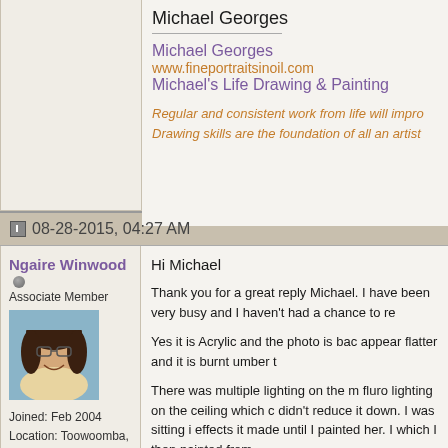Michael Georges
Michael Georges
www.fineportraitsinoil.com
Michael's Life Drawing & Painting
Regular and consistent work from life will improve your skills.
Drawing skills are the foundation of all an artist's work.
08-28-2015, 04:27 AM
Ngaire Winwood
Associate Member
[Figure (photo): Profile photo of Ngaire Winwood, a woman with dark hair and glasses, smiling, outdoors with blue background]
Joined: Feb 2004
Location: Toowoomba, Australia
Posts: 355
Send a message via Skype™ to Ngaire Winwood
Hi Michael
Thank you for a great reply Michael. I have been very busy and I haven't had a chance to re
Yes it is Acrylic and the photo is bad. The colours appear flatter and it is burnt umber t
There was multiple lighting on the model, there was fluro lighting on the ceiling which c didn't reduce it down. I was sitting i effects it made until I painted her. I  which I then painted from.
I also ran out of time to finish it